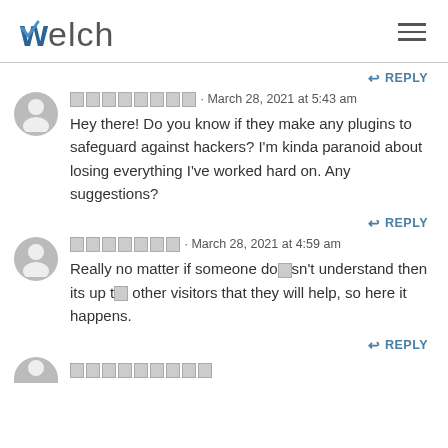Welch
↩ REPLY
⬛⬛⬛⬛⬛⬛⬛⬛ · March 28, 2021 at 5:43 am
Hey there! Do you know if they make any plugins to safeguard against hackers? I'm kinda paranoid about losing everything I've worked hard on. Any suggestions?
↩ REPLY
⬛⬛⬛⬛⬛⬛⬛ · March 28, 2021 at 4:59 am
Really no matter if someone do⬛sn't understand then its up t⬛ other visitors that they will help, so here it happens.
↩ REPLY